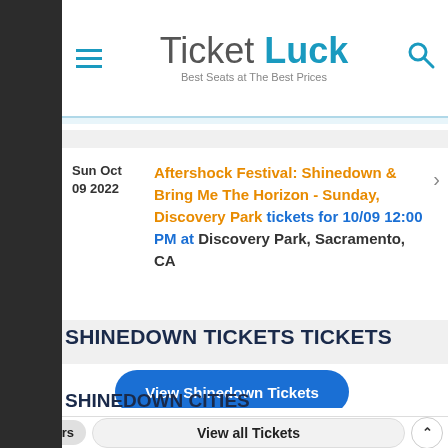[Figure (logo): TicketLuck logo with tagline 'Best Seats at The Best Prices']
Sun Oct 09 2022
Aftershock Festival: Shinedown & Bring Me The Horizon - Sunday, Discovery Park tickets for 10/09 12:00 PM at Discovery Park, Sacramento, CA
SHINEDOWN TICKETS TICKETS
View Shinedown Tickets
SHINEDOWN CITIES
Filters
View all Tickets